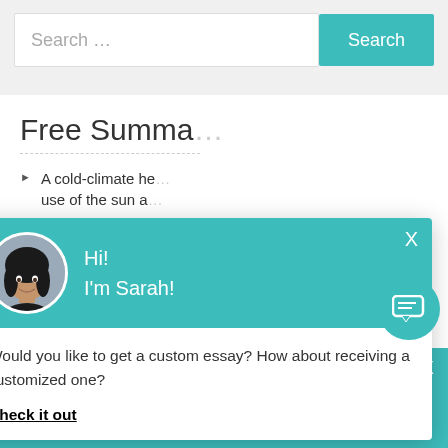[Figure (screenshot): Search bar with placeholder text 'Search ...' and a teal 'Search' button]
Free Summa...
A cold-climate he... use of the sun a...
Garlic chicken a...
Shafts of sunligh... in Denver Essay
Admire-and-sniff ornaments, wreaths, mi... tree Essay
[Figure (screenshot): Chat popup with avatar of Sarah, teal header saying 'Hi! I'm Sarah!', body text 'Would you like to get a custom essay? How about receiving a customized one?' and a bold underlined 'Check it out' link. X close button in top right.]
Would you like to get a custom essay? How about receiving a customized one?
Check it out
Haven't Found The Essay You Want?
GET YOUR CUSTOM ESSAY
For Only $13.90/page